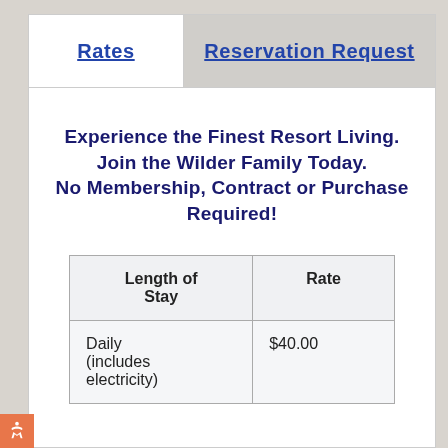Rates
Reservation Request
Experience the Finest Resort Living. Join the Wilder Family Today. No Membership, Contract or Purchase Required!
| Length of Stay | Rate |
| --- | --- |
| Daily (includes electricity) | $40.00 |